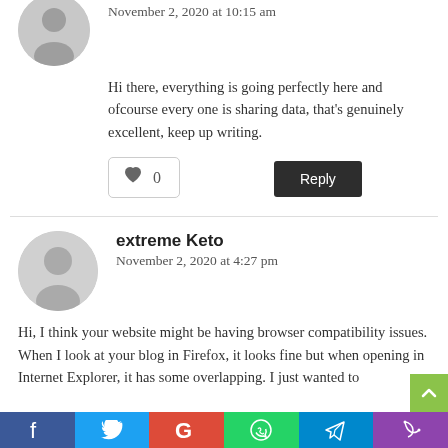November 2, 2020 at 10:15 am
Hi there, everything is going perfectly here and ofcourse every one is sharing data, that's genuinely excellent, keep up writing.
0
Reply
extreme Keto
November 2, 2020 at 4:27 pm
Hi, I think your website might be having browser compatibility issues. When I look at your blog in Firefox, it looks fine but when opening in Internet Explorer, it has some overlapping. I just wanted to